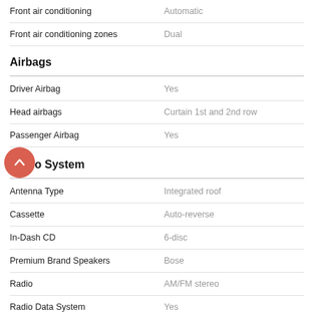| Feature | Value |
| --- | --- |
| Front air conditioning | Automatic |
| Front air conditioning zones | Dual |
Airbags
| Feature | Value |
| --- | --- |
| Driver Airbag | Yes |
| Head airbags | Curtain 1st and 2nd row |
| Passenger Airbag | Yes |
Audio System
| Feature | Value |
| --- | --- |
| Antenna Type | Integrated roof |
| Cassette | Auto-reverse |
| In-Dash CD | 6-disc |
| Premium Brand Speakers | Bose |
| Radio | AM/FM stereo |
| Radio Data System | Yes |
| Speed Sensitive Volume Control | Yes |
| Total Number of Speakers | 7 |